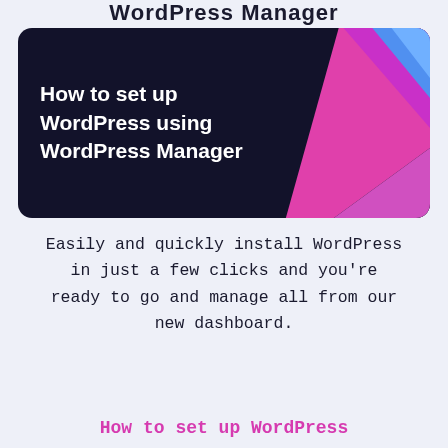WordPress Manager
[Figure (illustration): Dark navy rounded banner card with white bold text 'How to set up WordPress using WordPress Manager' on the left, and a colorful geometric graphic with pink, purple, magenta and blue diagonal shapes on the right.]
Easily and quickly install WordPress in just a few clicks and you're ready to go and manage all from our new dashboard.
How to set up WordPress